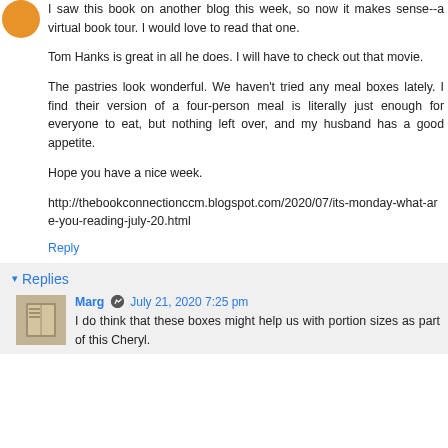I saw this book on another blog this week, so now it makes sense--a virtual book tour. I would love to read that one.
Tom Hanks is great in all he does. I will have to check out that movie.
The pastries look wonderful. We haven't tried any meal boxes lately. I find their version of a four-person meal is literally just enough for everyone to eat, but nothing left over, and my husband has a good appetite.
Hope you have a nice week.
http://thebookconnectionccm.blogspot.com/2020/07/its-monday-what-are-you-reading-july-20.html
Reply
Replies
Marg  July 21, 2020 7:25 pm
I do think that these boxes might help us with portion sizes as part of this Cheryl.